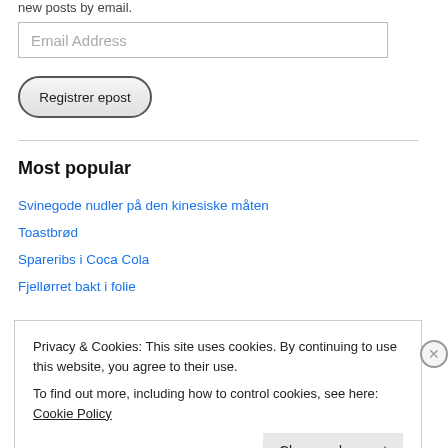new posts by email.
Email Address
Registrer epost
Most popular
Svinegode nudler på den kinesiske måten
Toastbrød
Spareribs i Coca Cola
Fjellørret bakt i folie
Privacy & Cookies: This site uses cookies. By continuing to use this website, you agree to their use.
To find out more, including how to control cookies, see here: Cookie Policy
Close and accept